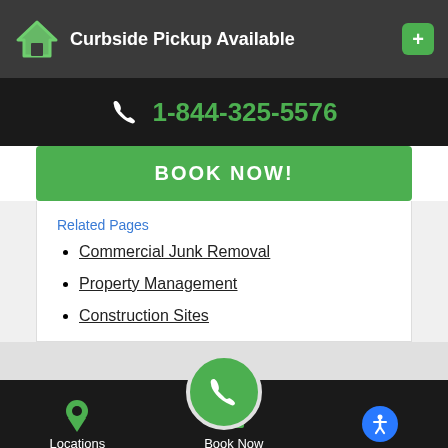Curbside Pickup Available
1-844-325-5576
BOOK NOW!
Related Pages
Commercial Junk Removal
Property Management
Construction Sites
Locations | Book Now